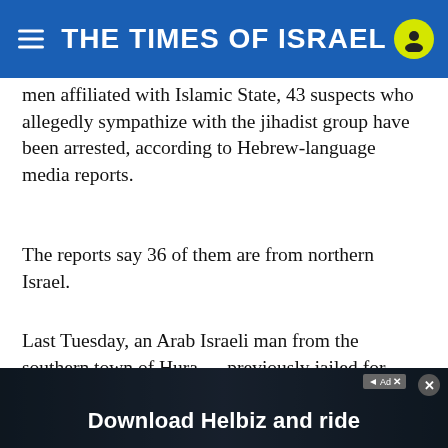THE TIMES OF ISRAEL
men affiliated with Islamic State, 43 suspects who allegedly sympathize with the jihadist group have been arrested, according to Hebrew-language media reports.
The reports say 36 of them are from northern Israel.
Last Tuesday, an Arab Israeli man from the southern town of Hura — previously jailed for attempting to join Islamic State — killed four people at a shopping center in Beersheba.
And on Sunday, two cousins from Umm al-Fahm — on [obscured by ad] atte[obscured by ad]
[Figure (other): Advertisement banner overlay at the bottom of the page reading 'Download Helbiz and ride' with a close button and ad badge icons]